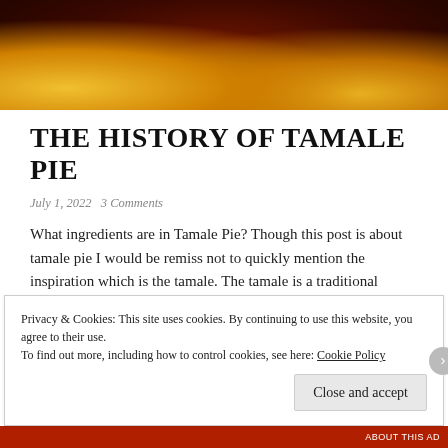[Figure (photo): Close-up photo of tamale pie showing yellow corn crust with dark red-brown meat filling and nuts/seeds on top]
THE HISTORY OF TAMALE PIE
July 1, 2022   3 Comments
What ingredients are in Tamale Pie? Though this post is about tamale pie I would be remiss not to quickly mention the inspiration which is the tamale. The tamale is a traditional Mexican dish that dates back to the days
Privacy & Cookies: This site uses cookies. By continuing to use this website, you agree to their use.
To find out more, including how to control cookies, see here: Cookie Policy
Close and accept